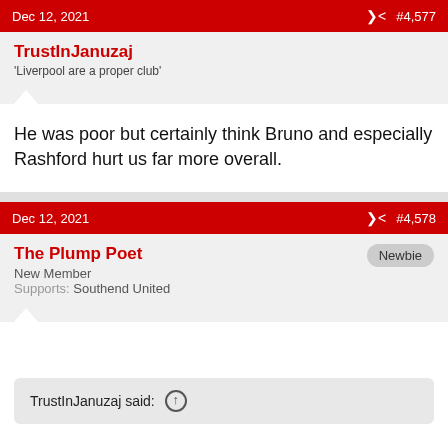Dec 12, 2021   #4,577
TrustInJanuzaj
'Liverpool are a proper club'
He was poor but certainly think Bruno and especially Rashford hurt us far more overall.
Dec 12, 2021   #4,578
The Plump Poet
New Member
Supports: Southend United
TrustInJanuzaj said: ↑